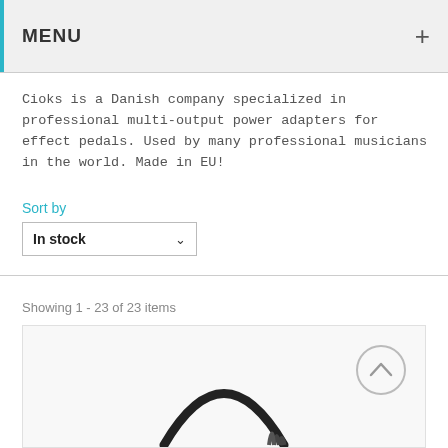MENU
Cioks is a Danish company specialized in professional multi-output power adapters for effect pedals. Used by many professional musicians in the world. Made in EU!
Sort by
In stock
Showing 1 - 23 of 23 items
[Figure (photo): Product image showing a black cable/connector against a white background, with a circular navigation arrow button (chevron up) in the upper right of the product card.]